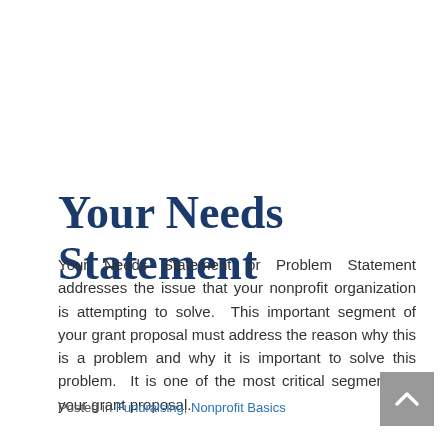Your Needs Statement
Your Needs Statement or Problem Statement addresses the issue that your nonprofit organization is attempting to solve.  This important segment of your grant proposal must address the reason why this is a problem and why it is important to solve this problem.  It is one of the most critical segments of your grant proposal.
Posted in Fundraising, Nonprofit Basics